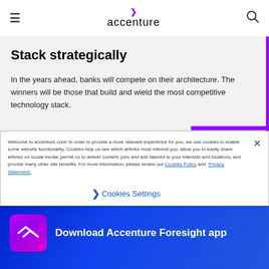accenture
Stack strategically
In the years ahead, banks will compete on their architecture. The winners will be those that build and wield the most competitive technology stack.
Welcome to accenture.com! In order to provide a more relevant experience for you, we use cookies to enable some website functionality. Cookies help us see which articles most interest you; allow you to easily share articles on social media; permit us to deliver content, jobs and ads tailored to your interests and locations; and provide many other site benefits. For more information, please review our Cookies Policy and Privacy Statement.
Cookies Settings
Download Accenture Foresight app